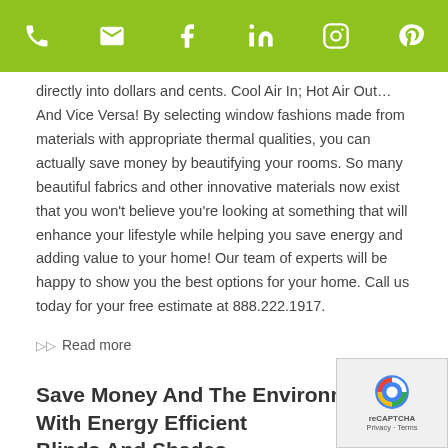Navigation bar with phone, email, Facebook, LinkedIn, Instagram, Pinterest icons
directly into dollars and cents. Cool Air In; Hot Air Out... And Vice Versa! By selecting window fashions made from materials with appropriate thermal qualities, you can actually save money by beautifying your rooms. So many beautiful fabrics and other innovative materials now exist that you won't believe you're looking at something that will enhance your lifestyle while helping you save energy and adding value to your home! Our team of experts will be happy to show you the best options for your home. Call us today for your free estimate at 888.222.1917.
Read more
Save Money And The Environment With Energy Efficient Blinds And Shades